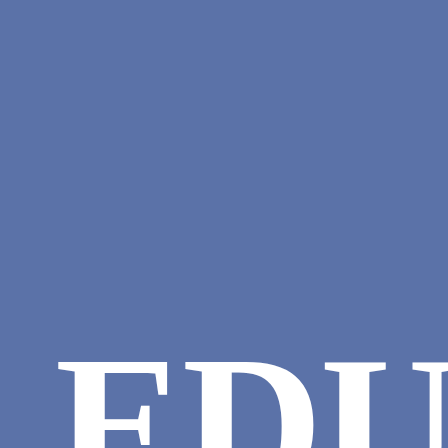[Figure (logo): Blue background cover page with large white serif letters 'EDU' (partially visible, cropped at right edge) at the bottom, suggesting an Education-related publication logo or cover.]